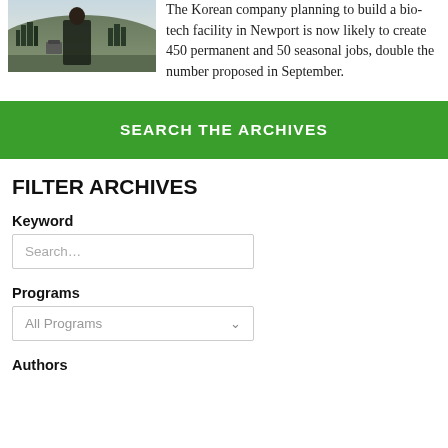[Figure (photo): Outdoor photo of a person in dark jacket with mountains/trees in background and equipment visible]
The Korean company planning to build a bio-tech facility in Newport is now likely to create 450 permanent and 50 seasonal jobs, double the number proposed in September.
SEARCH THE ARCHIVES
FILTER ARCHIVES
Keyword
Search…
Programs
All Programs
Authors